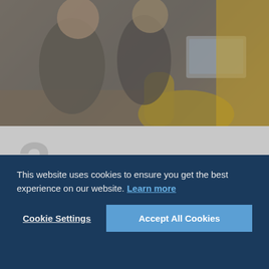[Figure (photo): Two people sitting on a couch having a conversation, with a laptop visible in the background. The image has warm tones with yellow/gold and gray hues.]
3.
Hire
This website uses cookies to ensure you get the best experience on our website. Learn more
Cookie Settings
Accept All Cookies